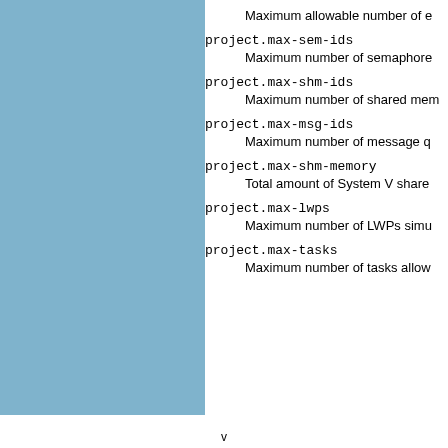project.max-sem-ids
    Maximum number of semaphore
project.max-shm-ids
    Maximum number of shared mem
project.max-msg-ids
    Maximum number of message q
project.max-shm-memory
    Total amount of System V shared
project.max-lwps
    Maximum number of LWPs simu
project.max-tasks
    Maximum number of tasks allow
v